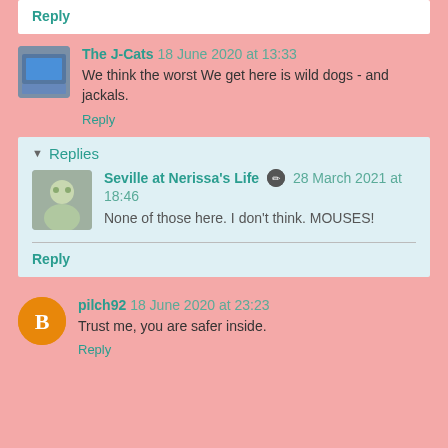Reply
The J-Cats 18 June 2020 at 13:33
We think the worst We get here is wild dogs - and jackals.
Reply
Replies
Seville at Nerissa's Life 28 March 2021 at 18:46
None of those here. I don't think. MOUSES!
Reply
pilch92 18 June 2020 at 23:23
Trust me, you are safer inside.
Reply